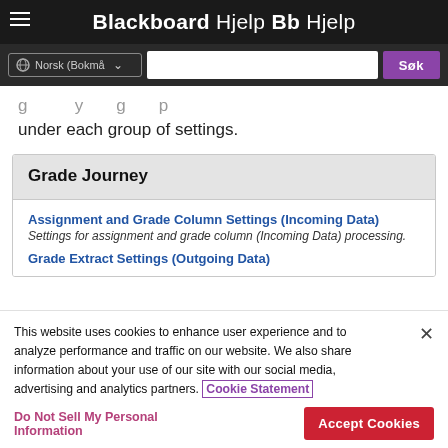Blackboard Hjelp Bb Hjelp
...g...y...g...p... under each group of settings.
Grade Journey
Assignment and Grade Column Settings (Incoming Data)
Settings for assignment and grade column (Incoming Data) processing.
Grade Extract Settings (Outgoing Data)
This website uses cookies to enhance user experience and to analyze performance and traffic on our website. We also share information about your use of our site with our social media, advertising and analytics partners. Cookie Statement
Do Not Sell My Personal Information
Accept Cookies